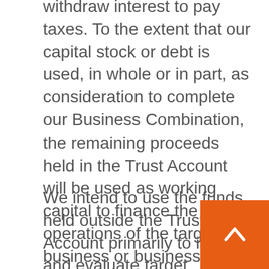withdraw interest to pay taxes. To the extent that our capital stock or debt is used, in whole or in part, as consideration to complete our Business Combination, the remaining proceeds held in the Trust Account will be used as working capital to finance the operations of the target business or businesses, make other acquisitions and pursue our growth strategies.
We intend to use the funds held outside the Trust Account primarily to identify and evaluate target businesses, perform business diligence on prospective target businesses, travel to and from the offices, plants or similar locations